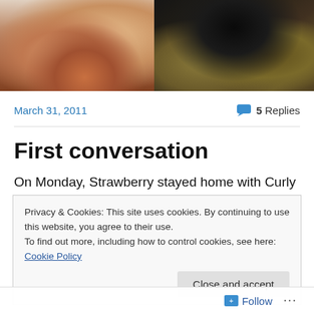[Figure (photo): Two side-by-side animal photos. Left: close-up of a brown/orange cat face showing its nose and fur. Right: close-up of a dark cat or animal with brown/golden feathered or textured fur.]
March 31, 2011
5 Replies
First conversation
On Monday, Strawberry stayed home with Curly due to a teacher work day at daycare and I did the bedtime routine
Privacy & Cookies: This site uses cookies. By continuing to use this website, you agree to their use.
To find out more, including how to control cookies, see here: Cookie Policy
Close and accept
Follow